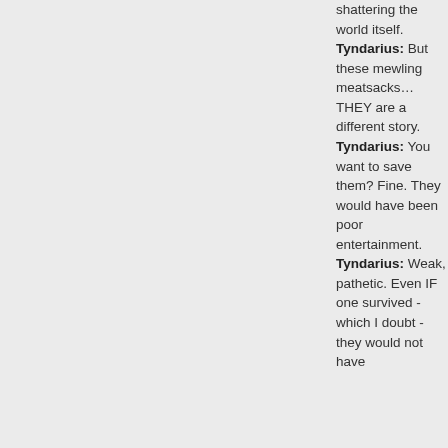shattering the world itself.
Tyndarius: But these mewling meatsacks… THEY are a different story.
Tyndarius: You want to save them? Fine. They would have been poor entertainment.
Tyndarius: Weak, pathetic. Even IF one survived - which I doubt - they would not have